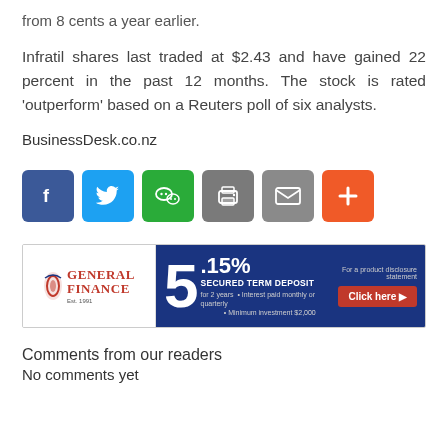from 8 cents a year earlier.
Infratil shares last traded at $2.43 and have gained 22 percent in the past 12 months. The stock is rated 'outperform' based on a Reuters poll of six analysts.
BusinessDesk.co.nz
[Figure (infographic): Social share buttons row: Facebook (blue), Twitter (light blue), WeChat (green), Print (grey), Email (grey), Plus/More (orange-red)]
[Figure (infographic): General Finance advertisement banner: white left panel with General Finance logo (red G icon, red and blue text), blue right panel showing 5.15% Secured Term Deposit for 2 years, interest paid monthly or quarterly, minimum investment $2,000, with a red Click here button and product disclosure statement note.]
Comments from our readers
No comments yet